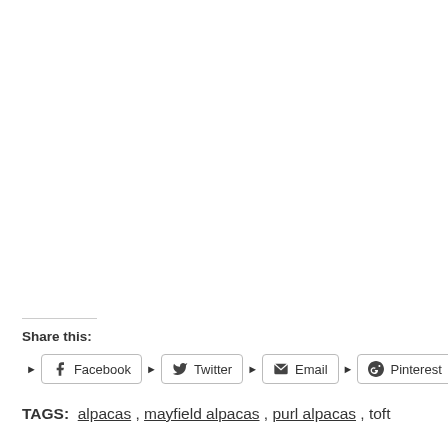Share this:
▶ Facebook ▶ Twitter ▶ Email ▶ Pinterest ▶
TAGS: alpacas , mayfield alpacas , purl alpacas , toft